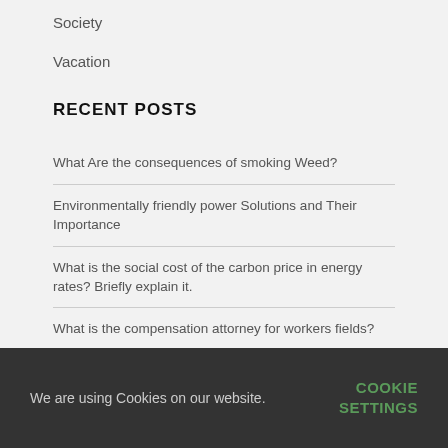Society
Vacation
RECENT POSTS
What Are the consequences of smoking Weed?
Environmentally friendly power Solutions and Their Importance
What is the social cost of the carbon price in energy rates? Briefly explain it.
What is the compensation attorney for workers fields?
We are using Cookies on our website.  COOKIE SETTINGS